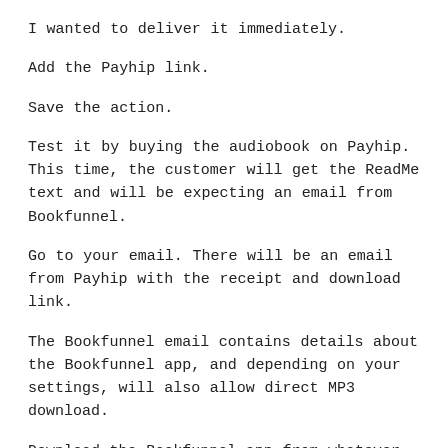I wanted to deliver it immediately.
Add the Payhip link.
Save the action.
Test it by buying the audiobook on Payhip. This time, the customer will get the ReadMe text and will be expecting an email from Bookfunnel.
Go to your email. There will be an email from Payhip with the receipt and download link.
The Bookfunnel email contains details about the Bookfunnel app, and depending on your settings, will also allow direct MP3 download.
Download the Bookfunnel app from whatever app store you use.